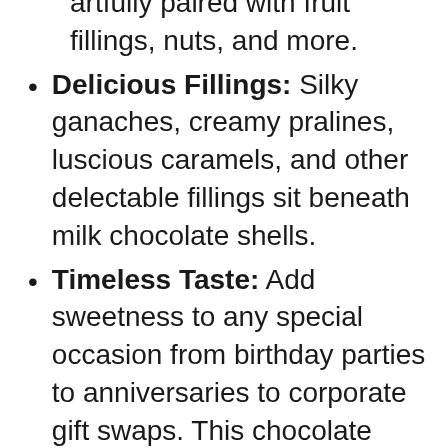artfully paired with fruit fillings, nuts, and more.
Delicious Fillings: Silky ganaches, creamy pralines, luscious caramels, and other delectable fillings sit beneath milk chocolate shells.
Timeless Taste: Add sweetness to any special occasion from birthday parties to anniversaries to corporate gift swaps. This chocolate assortment is always a perfect choice.
Gold Gift Box: Surprise someone special with this elegant chocolate box, finished with a gold ribbon, or satiate your sweet tooth as you sample each piece of chocolate.
Belgian Heritage: Founded nearly 100 years ago, Godiva continues to adhere